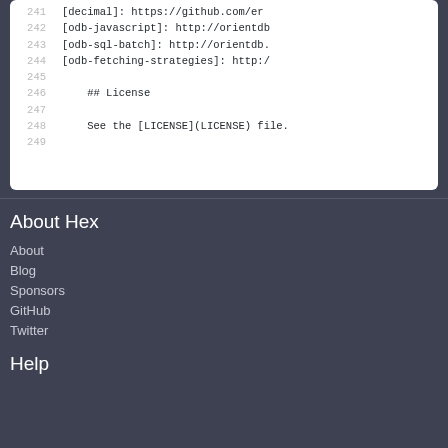241 [decimal]: https://github.com/er...
242 [odb-javascript]: http://orientdb...
243 [odb-sql-batch]: http://orientdb....
244 [odb-fetching-strategies]: http:/...
245
246     ## License
247
248     See the [LICENSE](LICENSE) file.
249
About Hex
About
Blog
Sponsors
GitHub
Twitter
Help